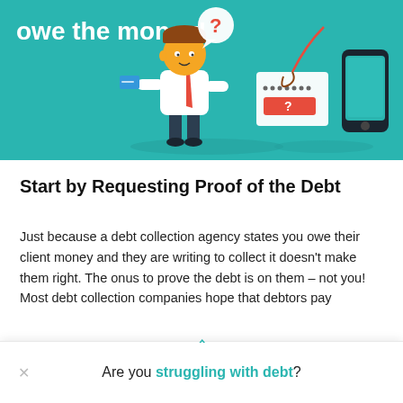[Figure (illustration): Teal/turquoise banner illustration showing a cartoon man in business attire holding a credit card, with a speech bubble containing a question mark, a phishing hook attached to a login form/password input device, and a smartphone. Text reads 'owe the money!' in white bold text at top left.]
Start by Requesting Proof of the Debt
Just because a debt collection agency states you owe their client money and they are writing to collect it doesn't make them right. The onus to prove the debt is on them – not you! Most debt collection companies hope that debtors pay
Are you struggling with debt?